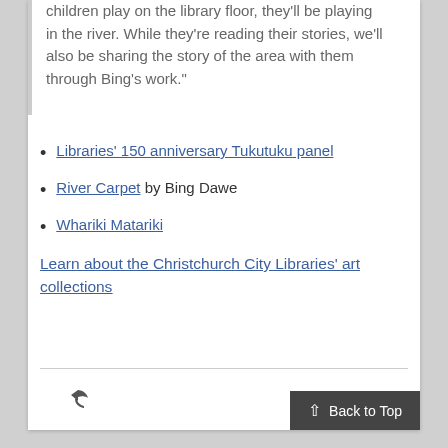children play on the library floor, they'll be playing in the river. While they're reading their stories, we'll also be sharing the story of the area with them through Bing's work."
Libraries' 150 anniversary Tukutuku panel
River Carpet by Bing Dawe
Whariki Matariki
Learn about the Christchurch City Libraries' art collections